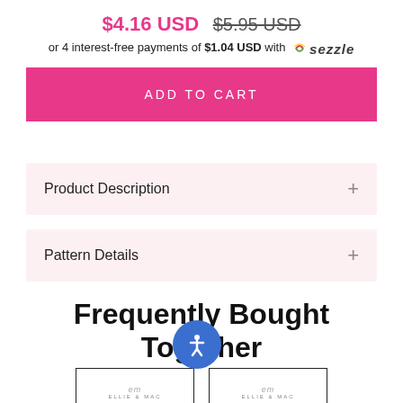$4.16 USD  $5.95 USD
or 4 interest-free payments of $1.04 USD with Sezzle
ADD TO CART
Product Description
Pattern Details
Frequently Bought Together